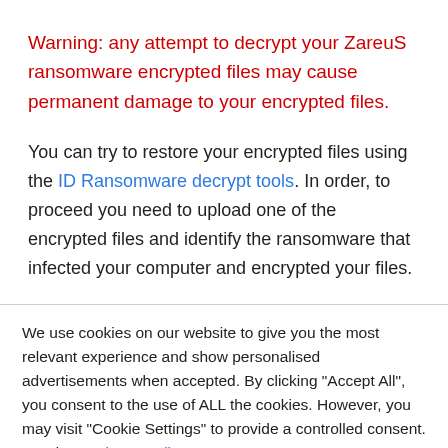Warning: any attempt to decrypt your ZareuS ransomware encrypted files may cause permanent damage to your encrypted files.
You can try to restore your encrypted files using the ID Ransomware decrypt tools. In order, to proceed you need to upload one of the encrypted files and identify the ransomware that infected your computer and encrypted your files.
We use cookies on our website to give you the most relevant experience and show personalised advertisements when accepted. By clicking "Accept All", you consent to the use of ALL the cookies. However, you may visit "Cookie Settings" to provide a controlled consent. Read our Privacy Policy